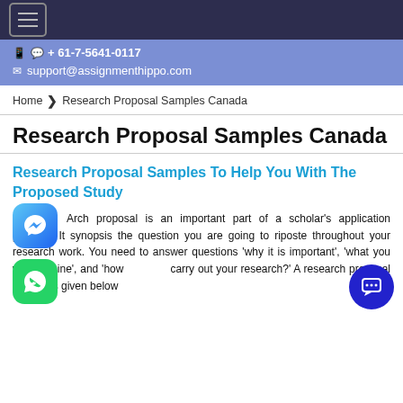Navigation bar with hamburger menu
+ 61-7-5641-0117 | support@assignmenthippo.com
Home > Research Proposal Samples Canada
Research Proposal Samples Canada
Research Proposal Samples To Help You With The Proposed Study
A research proposal is an important part of a scholar's application process. It synopsis the question you are going to riposte throughout your research work. You need to answer questions 'why it is important', 'what you will examine', and 'how you will carry out your research?' A research proposal sample is given below